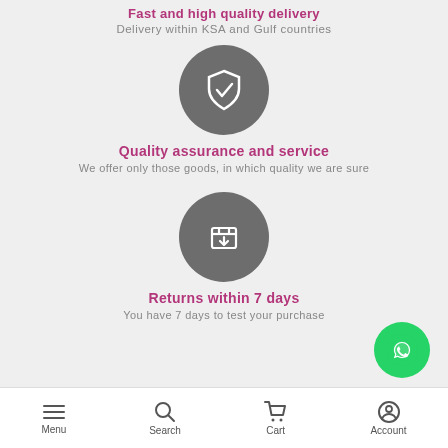Fast and high quality delivery
Delivery within KSA and Gulf countries
[Figure (illustration): Dark grey circle with white shield and checkmark icon for quality assurance]
Quality assurance and service
We offer only those goods, in which quality we are sure
[Figure (illustration): Dark grey circle with white box/download icon for returns]
Returns within 7 days
You have 7 days to test your purchase
Menu  Search  Cart  Account